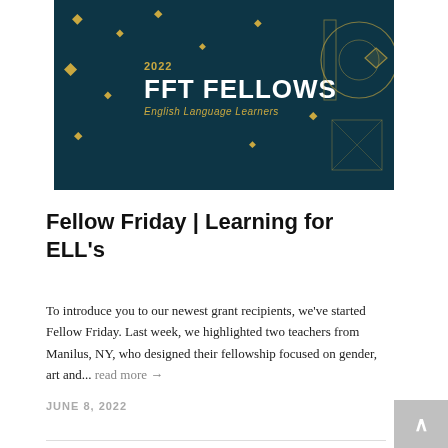[Figure (illustration): Dark teal banner image for '2022 FFT Fellows - English Language Learners' with gold diamond star decorations and geometric shapes on the right side]
Fellow Friday | Learning for ELL's
To introduce you to our newest grant recipients, we've started Fellow Friday. Last week, we highlighted two teachers from Manilus, NY, who designed their fellowship focused on gender, art and... read more →
JUNE 8, 2022